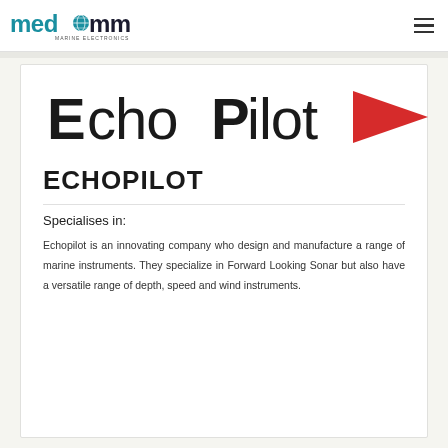medcomms MARINE ELECTRONICS
[Figure (logo): EchoPilot logo — bold black sans-serif text 'EchoPilot' with a red triangular arrow pointing right]
ECHOPILOT
Specialises in:
Echopilot is an innovating company who design and manufacture a range of marine instruments. They specialize in Forward Looking Sonar but also have a versatile range of depth, speed and wind instruments.